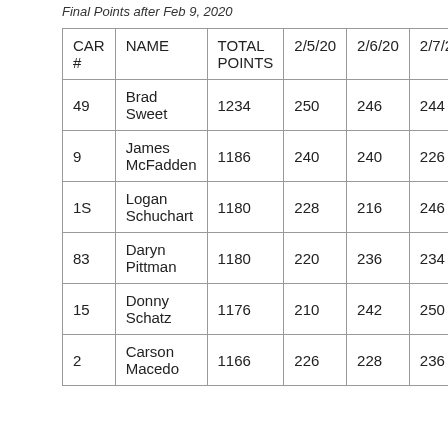Final Points after Feb 9, 2020
| CAR # | NAME | TOTAL POINTS | 2/5/20 | 2/6/20 | 2/7/20 |
| --- | --- | --- | --- | --- | --- |
| 49 | Brad Sweet | 1234 | 250 | 246 | 244 |
| 9 | James McFadden | 1186 | 240 | 240 | 226 |
| 1S | Logan Schuchart | 1180 | 228 | 216 | 246 |
| 83 | Daryn Pittman | 1180 | 220 | 236 | 234 |
| 15 | Donny Schatz | 1176 | 210 | 242 | 250 |
| 2 | Carson Macedo | 1166 | 226 | 228 | 236 |